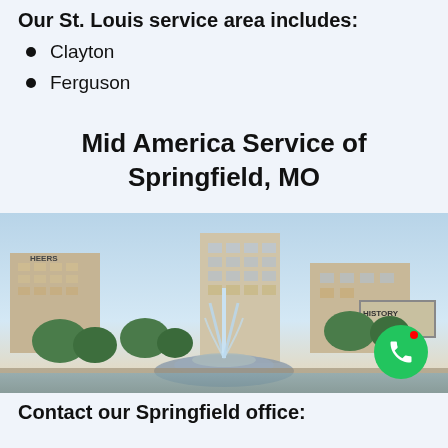Our St. Louis service area includes:
Clayton
Ferguson
Mid America Service of Springfield, MO
[Figure (photo): Cityscape of Springfield, MO featuring a fountain, historic buildings including one labeled 'History Museum', trees, and an evening sky.]
Contact our Springfield office: